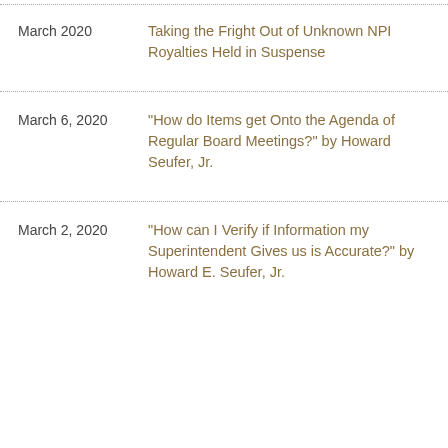March 2020 — Taking the Fright Out of Unknown NPR Royalties Held in Suspense
March 6, 2020 — "How do Items get Onto the Agenda of Regular Board Meetings?" by Howard Seufer, Jr.
March 2, 2020 — "How can I Verify if Information my Superintendent Gives us is Accurate?" by Howard E. Seufer, Jr.